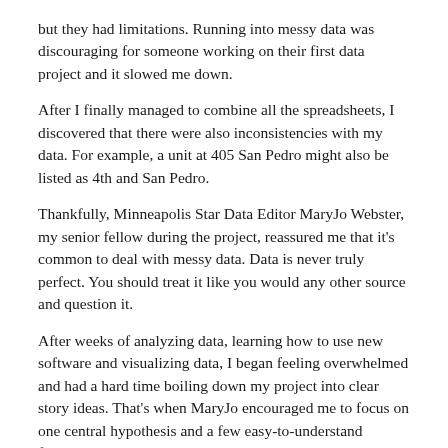but they had limitations. Running into messy data was discouraging for someone working on their first data project and it slowed me down.
After I finally managed to combine all the spreadsheets, I discovered that there were also inconsistencies with my data. For example, a unit at 405 San Pedro might also be listed as 4th and San Pedro.
Thankfully, Minneapolis Star Data Editor MaryJo Webster, my senior fellow during the project, reassured me that it's common to deal with messy data. Data is never truly perfect. You should treat it like you would any other source and question it.
After weeks of analyzing data, learning how to use new software and visualizing data, I began feeling overwhelmed and had a hard time boiling down my project into clear story ideas. That's when MaryJo encouraged me to focus on one central hypothesis and a few easy-to-understand findings to build my stories around. She explained that oftentimes the